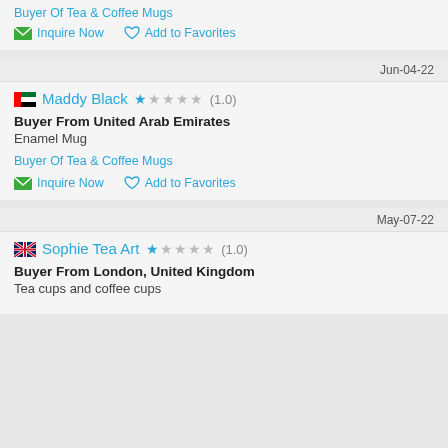Buyer Of Tea & Coffee Mugs
Inquire Now   Add to Favorites
Jun-04-22
Maddy Black ★☆☆☆☆ (1.0)
Buyer From United Arab Emirates
Enamel Mug
Buyer Of Tea & Coffee Mugs
Inquire Now   Add to Favorites
May-07-22
Sophie Tea Art ★☆☆☆☆ (1.0)
Buyer From London, United Kingdom
Tea cups and coffee cups